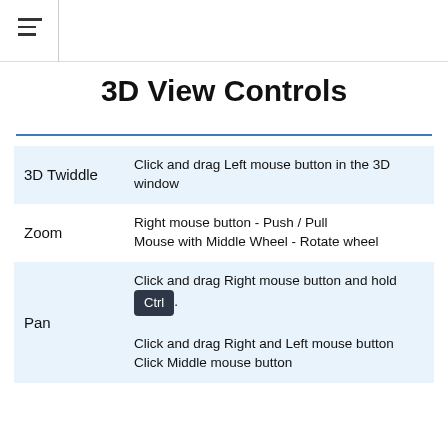≡
3D View Controls
|  |  |
| --- | --- |
| 3D Twiddle | Click and drag Left mouse button in the 3D window |
| Zoom | Right mouse button - Push / Pull
Mouse with Middle Wheel - Rotate wheel |
| Pan | Click and drag Right mouse button and hold Ctrl.
Click and drag Right and Left mouse button
Click Middle mouse button |